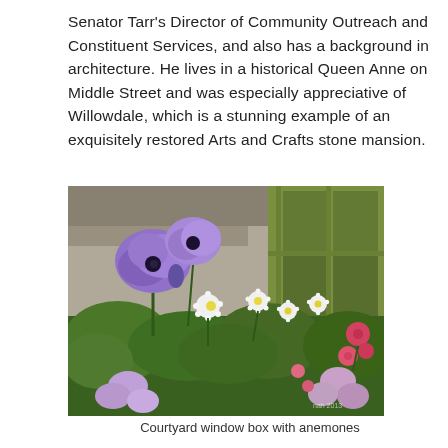Senator Tarr's Director of Community Outreach and Constituent Services, and also has a background in architecture. He lives in a historical Queen Anne on Middle Street and was especially appreciative of Willowdale, which is a stunning example of an exquisitely restored Arts and Crafts stone mansion.
[Figure (photo): Photograph of a courtyard window box filled with purple anemones, white daisies, pink and red small flowers, and greenery, in front of a green-painted window frame.]
Courtyard window box with anemones